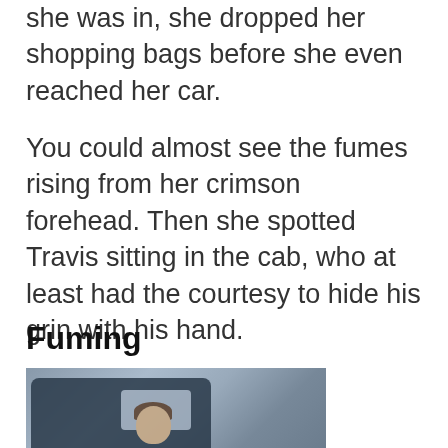she was in, she dropped her shopping bags before she even reached her car.
You could almost see the fumes rising from her crimson forehead. Then she spotted Travis sitting in the cab, who at least had the courtesy to hide his grin with his hand.
Fuming
[Figure (photo): A person leaning out of a car window, appearing to shout or yell, photographed from outside the vehicle.]